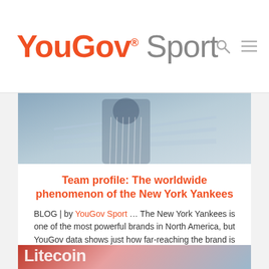YouGov® Sport
[Figure (photo): A baseball player in a pinstripe uniform running, blurred motion background]
Team profile: The worldwide phenomenon of the New York Yankees
BLOG | by YouGov Sport … The New York Yankees is one of the most powerful brands in North America, but YouGov data shows just how far-reaching the brand is around the world.
[Figure (photo): Partial view of a Litecoin branded image with red and blue gradient background]